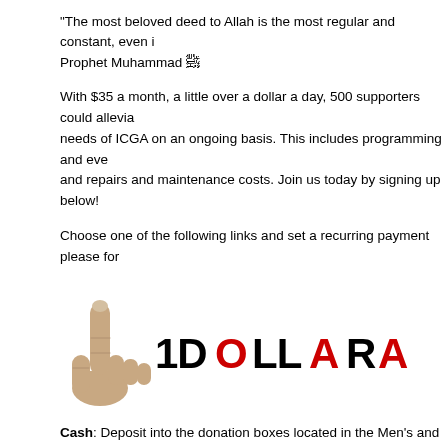“The most beloved deed to Allah is the most regular and constant, even i… Prophet Muhammad ﷺ
With $35 a month, a little over a dollar a day, 500 supporters could allevia… needs of ICGA on an ongoing basis. This includes programming and eve… and repairs and maintenance costs. Join us today by signing up below!
Choose one of the following links and set a recurring payment please for…
[Figure (logo): 1DollarADay logo with a hand pointing one finger upward next to bold text reading '1DOLLARADAY' in black and red.]
Cash: Deposit into the donation boxes located in the Men’s and Sisters’ p…
Paypal – click here
Feeling Blessed: Click here
MOHID: Click here